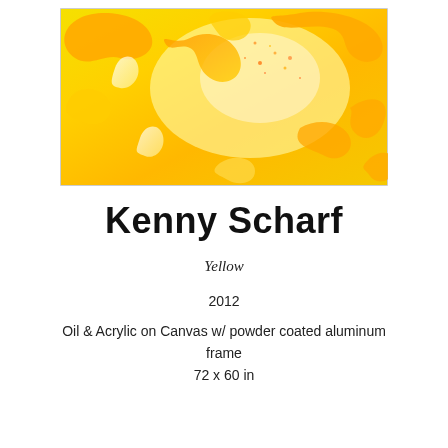[Figure (photo): Close-up detail of an abstract painting with swirling yellow, orange, and white fluid shapes against a bright yellow background, resembling paint poured in organic flowing patterns with some sparkle/glitter effects.]
Kenny Scharf
Yellow
2012
Oil & Acrylic on Canvas w/ powder coated aluminum frame
72 x 60 in